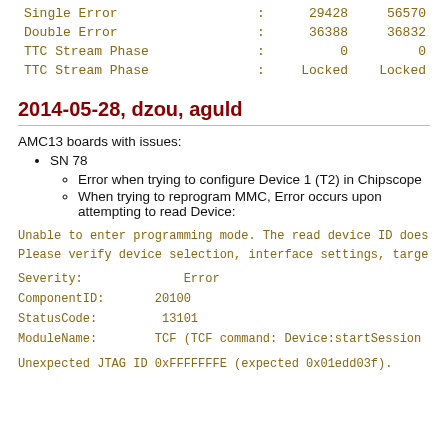| Single Error | : | 29428 | 56570 |
| Double Error | : | 36388 | 36832 |
| TTC Stream Phase | : | 0 | 0 |
| TTC Stream Phase | : | Locked | Locked |
2014-05-28, dzou, aguld
AMC13 boards with issues:
SN 78
Error when trying to configure Device 1 (T2) in Chipscope
When trying to reprogram MMC, Error occurs upon attempting to read Device:
Unable to enter programming mode. The read device ID does
Please verify device selection, interface settings, targe
Severity:              Error
ComponentID:       20100
StatusCode:          13101
ModuleName:        TCF (TCF command: Device:startSession
Unexpected JTAG ID 0xFFFFFFFE (expected 0x01edd03f).